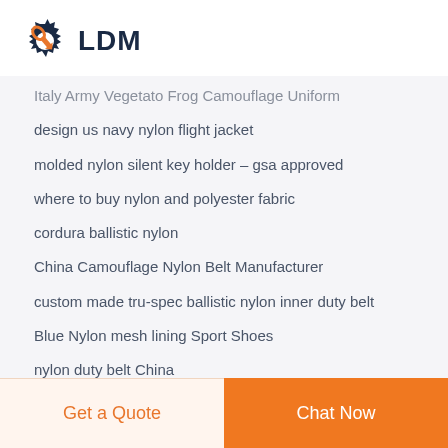[Figure (logo): LDM logo with gear and wrench icon in dark navy and orange]
Italy Army Vegetato Frog Camouflage Uniform
design us navy nylon flight jacket
molded nylon silent key holder - gsa approved
where to buy nylon and polyester fabric
cordura ballistic nylon
China Camouflage Nylon Belt Manufacturer
custom made tru-spec ballistic nylon inner duty belt
Blue Nylon mesh lining Sport Shoes
nylon duty belt China
nylon mosquito mesh
design bianchi nylon gun belt
nylon lifting slings suppliers
Top Quality Tactical Nylon Belt Price
Tactical Nylon Belt Company items
tender for nylon silent key holder